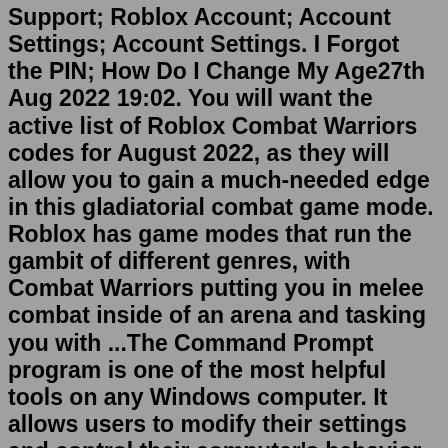Support; Roblox Account; Account Settings; Account Settings. I Forgot the PIN; How Do I Change My Age27th Aug 2022 19:02. You will want the active list of Roblox Combat Warriors codes for August 2022, as they will allow you to gain a much-needed edge in this gladiatorial combat game mode. Roblox has game modes that run the gambit of different genres, with Combat Warriors putting you in melee combat inside of an arena and tasking you with ...The Command Prompt program is one of the most helpful tools on any Windows computer. It allows users to modify their settings and control their computer's behavior. However, depending on the ...Restart your modem or router. Roblox is an online game. If you have a poor internet connection, it can affect your game. If your internet connection is lagging, unplug your modem or router and plug it back in to restart it. Then wait a few minutes for it to reboot. 2. Shut down all apps and internet-connected devices.IF you have not watched the whole video here is something i said (This does not save.This is just for trolling)yes and there it